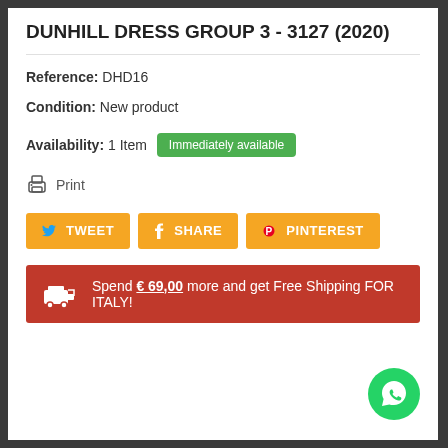DUNHILL DRESS GROUP 3 - 3127 (2020)
Reference: DHD16
Condition: New product
Availability: 1 Item  Immediately available
Print
TWEET  SHARE  PINTEREST
Spend € 69,00 more and get Free Shipping FOR ITALY!